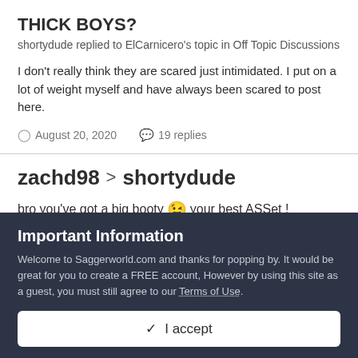THICK BOYS?
shortydude replied to ElCarnicero's topic in Off Topic Discussions
I don't really think they are scared just intimidated. I put on a lot of weight myself and have always been scared to post here.
August 20, 2020   19 replies
zachd98 > shortydude
bro you've got a big booty 😉 your best ASSet !
Important Information
Welcome to Saggerworld.com and thanks for popping by. It would be great for you to create a FREE account, However by using this site as a guest, you must still agree to our Terms of Use.
✓  I accept